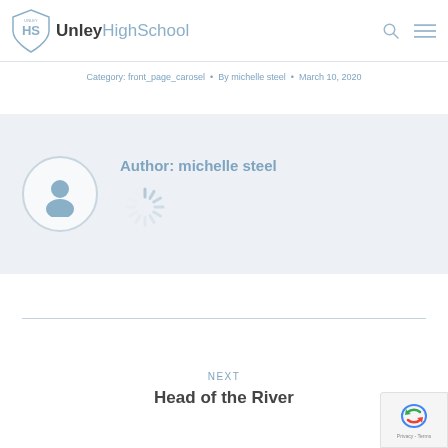Unley High School
Category: front_page_carosel • By michelle steel • March 10, 2020
Author: michelle steel
NEXT
Head of the River